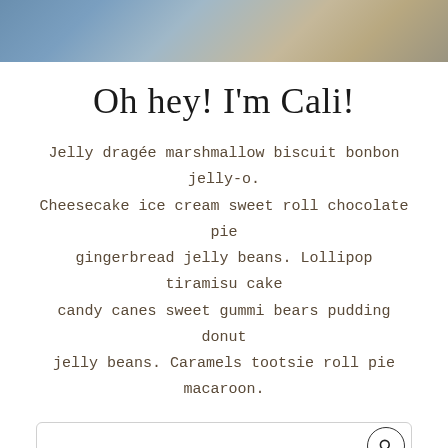[Figure (photo): Top portion of a photo showing denim jeans and a neutral background, cropped at the bottom edge.]
Oh hey! I'm Cali!
Jelly dragée marshmallow biscuit bonbon jelly-o. Cheesecake ice cream sweet roll chocolate pie gingerbread jelly beans. Lollipop tiramisu cake candy canes sweet gummi bears pudding donut jelly beans. Caramels tootsie roll pie macaroon.
[Figure (other): Search input box with a circular search icon on the right side.]
IMAGE CREDIT
All the images in this demo are from the Social Squares Membership and will need to be purchased or replaced after installing your new